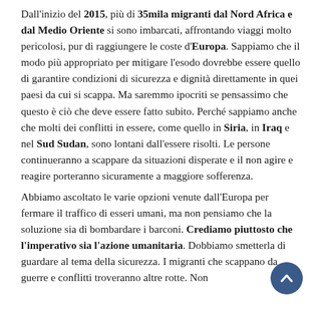Dall'inizio del 2015, più di 35mila migranti dal Nord Africa e dal Medio Oriente si sono imbarcati, affrontando viaggi molto pericolosi, pur di raggiungere le coste d'Europa. Sappiamo che il modo più appropriato per mitigare l'esodo dovrebbe essere quello di garantire condizioni di sicurezza e dignità direttamente in quei paesi da cui si scappa. Ma saremmo ipocriti se pensassimo che questo è ciò che deve essere fatto subito. Perché sappiamo anche che molti dei conflitti in essere, come quello in Siria, in Iraq e nel Sud Sudan, sono lontani dall'essere risolti. Le persone continueranno a scappare da situazioni disperate e il non agire e reagire porteranno sicuramente a maggiore sofferenza.
Abbiamo ascoltato le varie opzioni venute dall'Europa per fermare il traffico di esseri umani, ma non pensiamo che la soluzione sia di bombardare i barconi. Crediamo piuttosto che l'imperativo sia l'azione umanitaria. Dobbiamo smetterla di guardare al tema della sicurezza. I migranti che scappano da guerre e conflitti troveranno altre rotte. Non